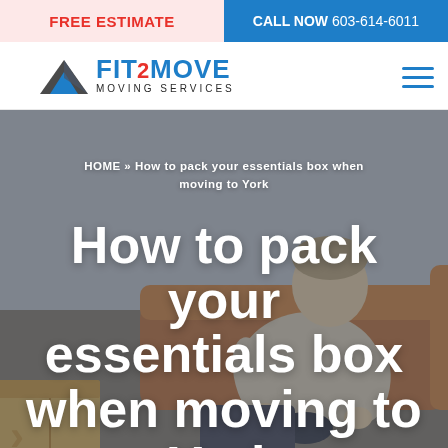FREE ESTIMATE | CALL NOW 603-614-6011
[Figure (logo): Fit2Move Moving Services logo with stylized mountain/arrow icon in blue and dark colors]
HOME » How to pack your essentials box when moving to York
How to pack your essentials box when moving to York
[Figure (photo): Young man sitting on a brown couch packing items into a box, wearing a beige hoodie, with moving boxes visible in the foreground]